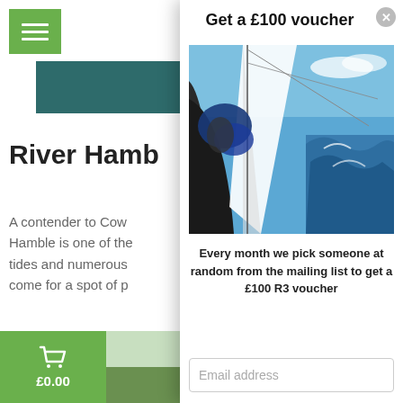[Figure (screenshot): Background website page showing River Hamble article with green menu button, teal header bar, article title 'River Hamb...' (truncated), body text about River Hamble, and green shopping cart showing £0.00]
Get a £100 voucher
[Figure (photo): Sailing boat photo taken from deck level showing sails, rigging, blue sky and choppy ocean waves]
Every month we pick someone at random from the mailing list to get a £100 R3 voucher
Email address